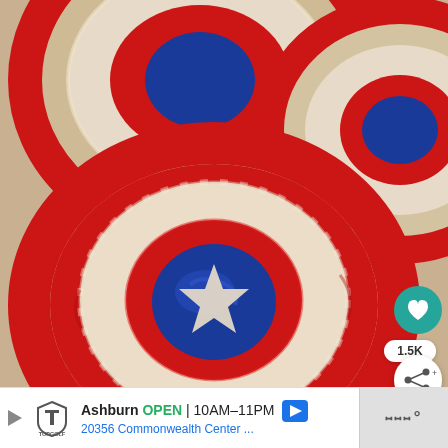[Figure (photo): Close-up photo of Captain America shield-themed Rice Krispies treats. The treats are round and decorated with red and white chocolate rings and a blue chocolate center with a white star, mimicking Captain America's shield. Multiple treats are visible, with the foreground one showing the full shield design clearly.]
Ashburn OPEN 10AM–11PM 20356 Commonwealth Center ...